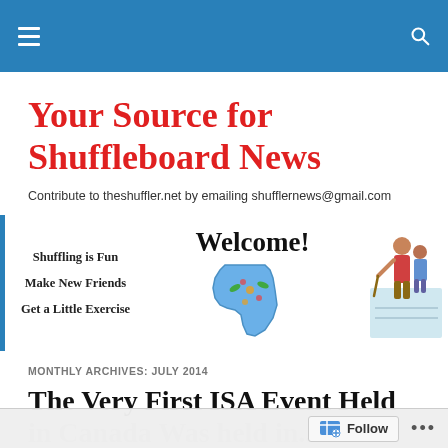Navigation bar with hamburger menu and search icon
Your Source for Shuffleboard News
Contribute to theshuffler.net by emailing shufflernews@gmail.com
[Figure (illustration): Welcome banner with text 'Shuffling is Fun, Make New Friends, Get a Little Exercise', Welcome! heading, Florida state map with flowers, and shuffleboard player illustration]
MONTHLY ARCHIVES: JULY 2014
The Very First ISA Event Held in Canada Was held in...